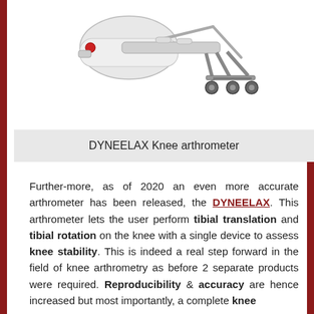[Figure (photo): Photo of the DYNEELAX Knee arthrometer device — a white and grey mechanical device with adjustable frame, rollers, and wheels, viewed from the side]
DYNEELAX Knee arthrometer
Further-more, as of 2020 an even more accurate arthrometer has been released, the DYNEELAX. This arthrometer lets the user perform tibial translation and tibial rotation on the knee with a single device to assess knee stability. This is indeed a real step forward in the field of knee arthrometry as before 2 separate products were required. Reproducibility & accuracy are hence increased but most importantly, a complete knee